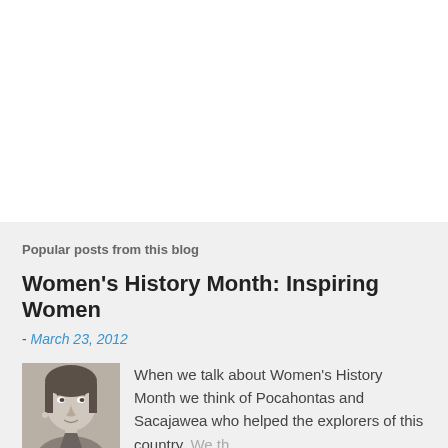Popular posts from this blog
Women's History Month: Inspiring Women
- March 23, 2012
[Figure (photo): Black and white portrait photo of a woman]
When we talk about Women's History Month we think of Pocahontas and Sacajawea who helped the explorers of this country. We th…